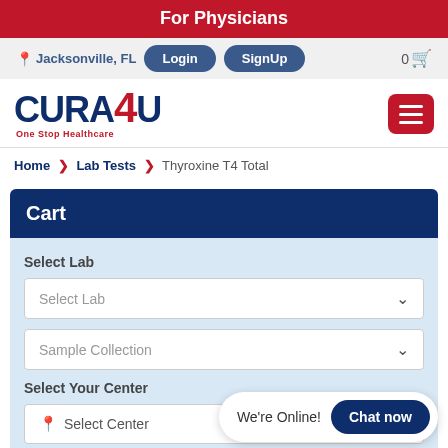For Physicians
Jacksonville, FL   Login   SignUp   0
[Figure (logo): CURA4U One Stop Healthcare logo]
Home > Lab Tests > Thyroxine T4 Total
Cart
Select Lab
Select Lab (dropdown)
Sample Collection (dropdown)
Select Your Center
Select Center
We're Online!  Chat now